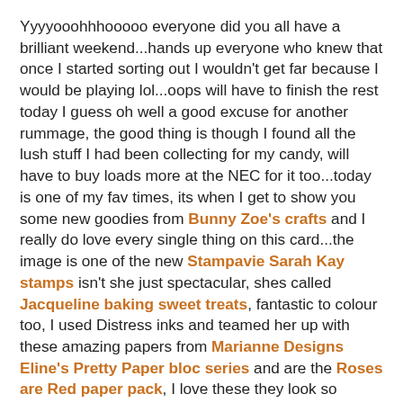Yyyyooohhhooooo everyone did you all have a brilliant weekend...hands up everyone who knew that once I started sorting out I wouldn't get far because I would be playing lol...oops will have to finish the rest today I guess oh well a good excuse for another rummage, the good thing is though I found all the lush stuff I had been collecting for my candy, will have to buy loads more at the NEC for it too...today is one of my fav times, its when I get to show you some new goodies from Bunny Zoe's crafts and I really do love every single thing on this card...the image is one of the new Stampavie Sarah Kay stamps isn't she just spectacular, shes called Jacqueline baking sweet treats, fantastic to colour too, I used Distress inks and teamed her up with these amazing papers from Marianne Designs Eline's Pretty Paper bloc series and are the Roses are Red paper pack, I love these they look so textured and vintage and they are larger than normal so you have plenty left to play with, now I have one I think I will have to buy more lol...and wow wow wow look at that amazing elasticated ruched ribbon from Prima isn't it stunning, and its not too elasticated if you know what I mean, so you can either leave it ruched like I